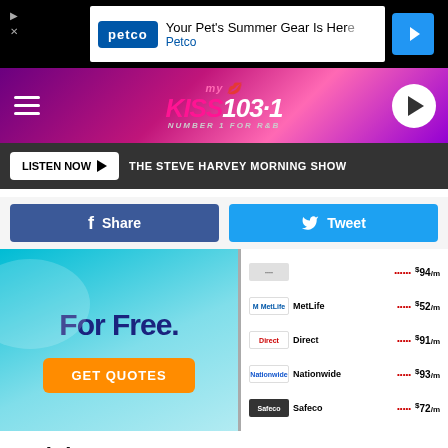[Figure (screenshot): Petco advertisement banner: 'Your Pet's Summer Gear Is Here' with Petco logo and navigation arrow]
[Figure (logo): My Kiss 103.1 radio station logo - Number 1 for R&B, pink/purple gradient background with hamburger menu and play button]
LISTEN NOW ▶ THE STEVE HARVEY MORNING SHOW
[Figure (infographic): Facebook Share button and Twitter Tweet button side by side]
[Figure (infographic): Insurance comparison advertisement: For Free. GET QUOTES button on left, insurance company listings (MetLife $52/m, Direct $91/m, Nationwide $93/m, Safeco $72/m) on right]
Insights
Horoscope Hysteria!
[Figure (logo): Insurify logo in orange]